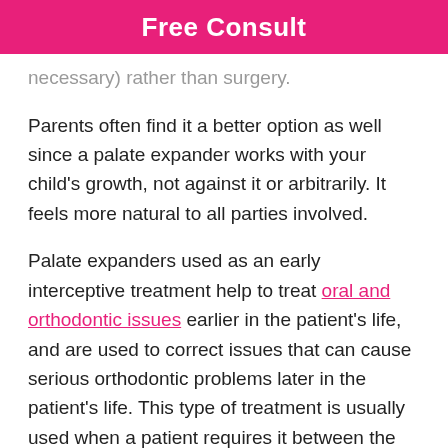Free Consult
necessary) rather than surgery.
Parents often find it a better option as well since a palate expander works with your child's growth, not against it or arbitrarily. It feels more natural to all parties involved.
Palate expanders used as an early interceptive treatment help to treat oral and orthodontic issues earlier in the patient's life, and are used to correct issues that can cause serious orthodontic problems later in the patient's life. This type of treatment is usually used when a patient requires it between the ages of 6 and ten years old.
Palate expanders also can help stop or train